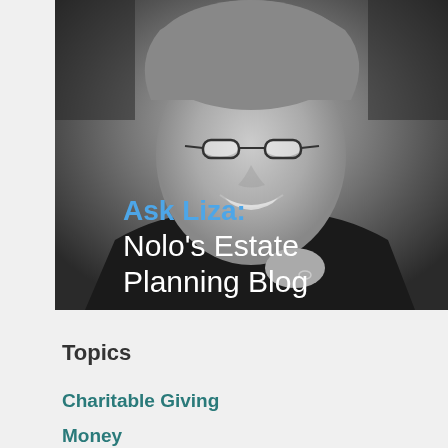[Figure (photo): Black and white portrait photo of a smiling woman with short curly hair wearing glasses and a dark blazer, with overlaid text reading 'Ask Liza: Nolo's Estate Planning Blog']
Topics
Charitable Giving
Money